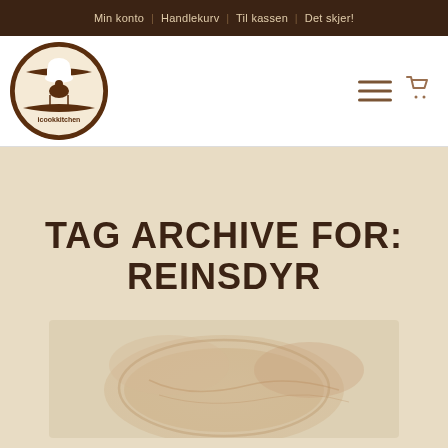Min konto | Handlekurv | Til kassen | Det skjer!
[Figure (logo): icookkitchen circular logo with chef hat and rooster illustration, brown and cream colors]
TAG ARCHIVE FOR: REINSDYR
[Figure (photo): Faded food photograph showing what appears to be a bowl or plate with reindeer dish, warm tones, partially visible]